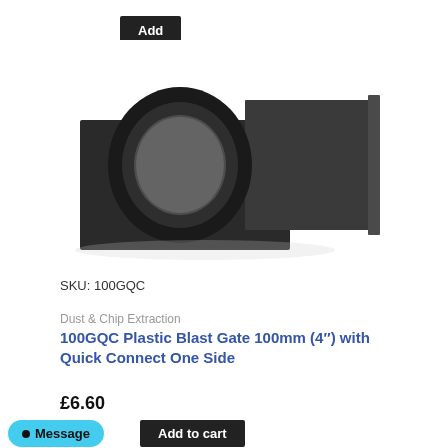Add to cart
[Figure (photo): Black plastic blast gate component with a circular collar on the left side and a flat sliding gate panel on the right, shown on a white background.]
SKU: 100GQC
Dust & Chip Extraction
100GQC Plastic Blast Gate 100mm (4") with Quick Connect One Side
£6.60
Message
Add to cart